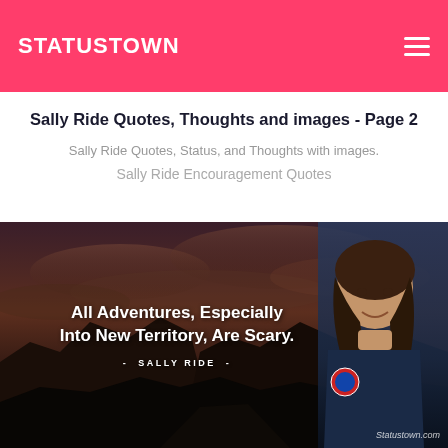STATUSTOWN
Sally Ride Quotes, Thoughts and images - Page 2
Sally Ride Quotes, Status, and Thoughts with images.
Sally Ride Encouragement Quotes
[Figure (photo): Quote image with dark mountain landscape background and photo of Sally Ride on right side. Text reads: All Adventures, Especially Into New Territory, Are Scary. - SALLY RIDE - Statustown.com watermark]